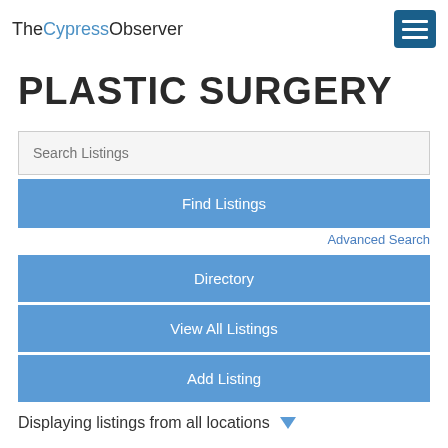TheCypressObserver
PLASTIC SURGERY
Search Listings
Find Listings
Advanced Search
Directory
View All Listings
Add Listing
Displaying listings from all locations